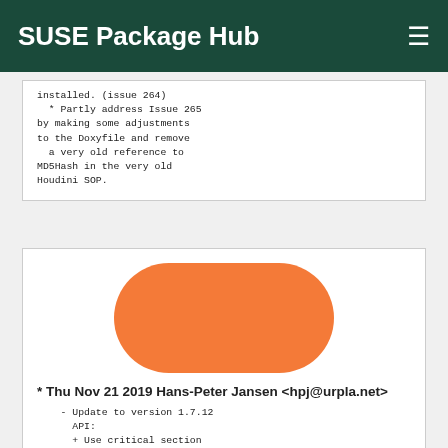SUSE Package Hub
installed. (issue 264)
  * Partly address Issue 265 by making some adjustments to the Doxyfile and remove
  a very old reference to MD5Hash in the very old Houdini SOP.
[Figure (illustration): Orange rounded rectangle shape, resembling a pill/package icon]
* Thu Nov 21 2019 Hans-Peter Jansen <hpj@urpla.net>
    - Update to version 1.7.12 API:
      + Use critical section instead of mutex on Windows. (PR220)
        * ErrorHandler now uses const char * for message instead of
            std::string for efficiency gain. (PR221)
      + Fix incompatibilities with C++17. (PR237)
      + additional API FIX...